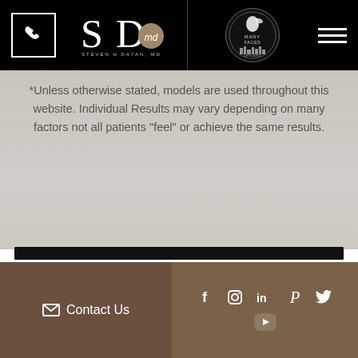Steven H Dayan, MD / Many Faces Chicago — navigation header
*Unless otherwise stated, models are used throughout this website. Individual Results may vary depending on many factors not all patients "feel" or achieve the same results.
Contact Us
Footer with Contact Us link and social media icons: Facebook, Instagram, LinkedIn, Pinterest, Twitter, YouTube